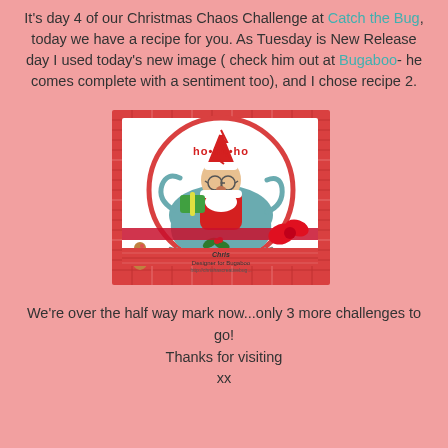It's day 4 of our Christmas Chaos Challenge at Catch the Bug, today we have a recipe for you. As Tuesday is New Release day I used today's new image ( check him out at Bugaboo- he comes complete with a sentiment too), and I chose recipe 2.
[Figure (photo): A handmade Christmas card featuring a cartoon Santa Claus in a teal sleigh with 'ho ho ho' text, set in a circular frame on red plaid patterned paper with a red ribbon bow. Signed by Chris, Designer for Bugaboo.]
We're over the half way mark now...only 3 more challenges to go!
Thanks for visiting
xx